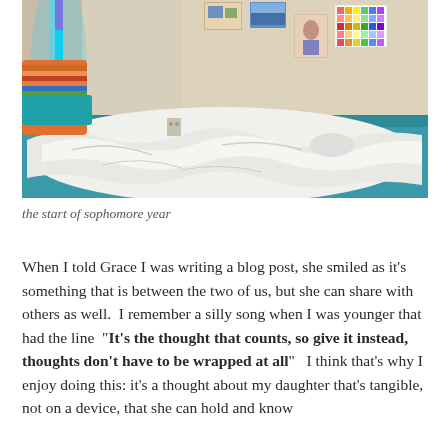[Figure (photo): A teenager's bedroom with an unmade bed with white sheets and a teal/blue bedframe. Colorful striped pillows are visible on the left side with an LED strip light glowing blue/teal. On the wall are several small photos and posters pinned up. The room has a beige/off-white wall.]
the start of sophomore year
When I told Grace I was writing a blog post, she smiled as it's something that is between the two of us, but she can share with others as well.  I remember a silly song when I was younger that had the line  "It's the thought that counts, so give it instead, thoughts don't have to be wrapped at all"  I think that's why I enjoy doing this: it's a thought about my daughter that's tangible, not on a device, that she can hold and know